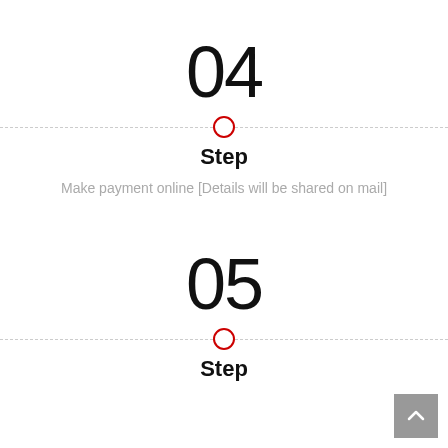04
Step
Make payment online [Details will be shared on mail]
05
Step